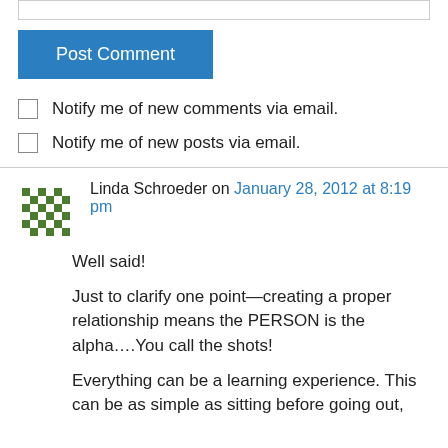[Figure (screenshot): Top border of a text input field]
Post Comment
Notify me of new comments via email.
Notify me of new posts via email.
Linda Schroeder on January 28, 2012 at 8:19 pm
Well said!
Just to clarify one point—creating a proper relationship means the PERSON is the alpha….You call the shots!
Everything can be a learning experience. This can be as simple as sitting before going out,